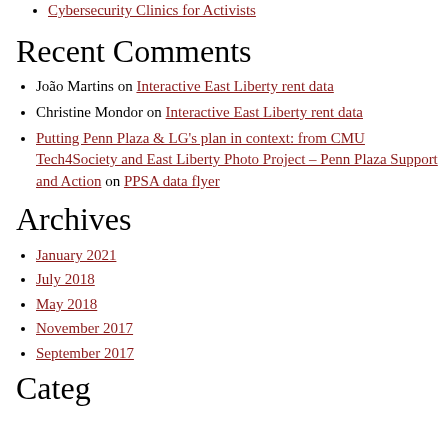Cybersecurity Clinics for Activists
Recent Comments
João Martins on Interactive East Liberty rent data
Christine Mondor on Interactive East Liberty rent data
Putting Penn Plaza & LG's plan in context: from CMU Tech4Society and East Liberty Photo Project – Penn Plaza Support and Action on PPSA data flyer
Archives
January 2021
July 2018
May 2018
November 2017
September 2017
Categories